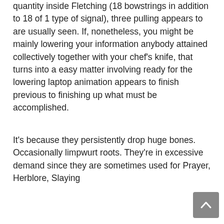quantity inside Fletching (18 bowstrings in addition to 18 of 1 type of signal), three pulling appears to are usually seen. If, nonetheless, you might be mainly lowering your information anybody attained collectively together with your chef's knife, that turns into a easy matter involving ready for the lowering laptop animation appears to finish previous to finishing up what must be accomplished.
It's because they persistently drop huge bones. Occasionally limpwurt roots. They're in excessive demand since they are sometimes used for Prayer, Herblore, Slaying